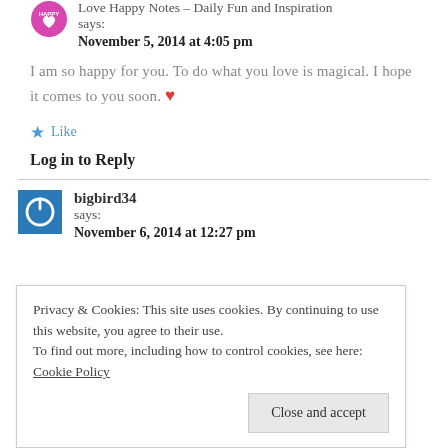[Figure (logo): Pink heart-shaped avatar with 'HAPPY' text for Love Happy Notes blog]
Love Happy Notes – Daily Fun and Inspiration says:
November 5, 2014 at 4:05 pm
I am so happy for you. To do what you love is magical. I hope it comes to you soon. ❤
★ Like
Log in to Reply
[Figure (logo): Blue square avatar with white power button icon for bigbird34]
bigbird34 says:
November 6, 2014 at 12:27 pm
Privacy & Cookies: This site uses cookies. By continuing to use this website, you agree to their use.
To find out more, including how to control cookies, see here: Cookie Policy
Close and accept